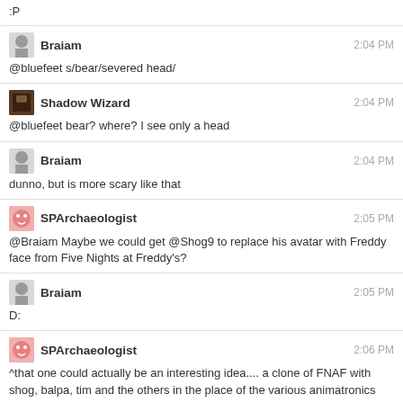:P
Braiam 2:04 PM
@bluefeet s/bear/severed head/
Shadow Wizard 2:04 PM
@bluefeet bear? where? I see only a head
Braiam 2:04 PM
dunno, but is more scary like that
SPArchaeologist 2:05 PM
@Braiam Maybe we could get @Shog9 to replace his avatar with Freddy face from Five Nights at Freddy's?
Braiam 2:05 PM
D:
SPArchaeologist 2:06 PM
^that one could actually be an interesting idea.... a clone of FNAF with shog, balpa, tim and the others in the place of the various animatronics
Infinite Recursion 2:14 PM
@bluefeet You let go of your booby avatar to convince me, so I let go of the bad reasons and reverted to the duck for good.
@ShadowWizard Shog has a different avatar and different hat on every site. Colorful personality.
or too idle.